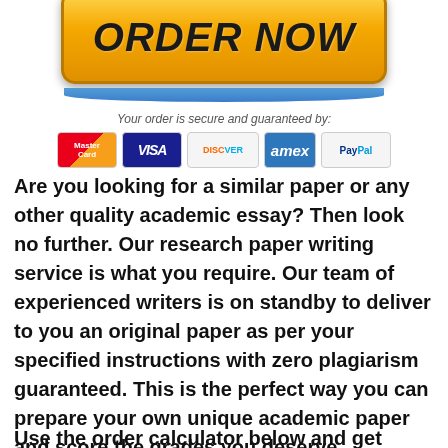[Figure (other): Orange ORDER NOW button with blue shine accent beneath it]
[Figure (other): Payment logos: MasterCard, VISA, DISCOVER, American Express, PayPal with 'Your order is secure and guaranteed by:' text above]
Are you looking for a similar paper or any other quality academic essay? Then look no further. Our research paper writing service is what you require. Our team of experienced writers is on standby to deliver to you an original paper as per your specified instructions with zero plagiarism guaranteed. This is the perfect way you can prepare your own unique academic paper and score the grades you deserve.
Use the order calculator below and get started!